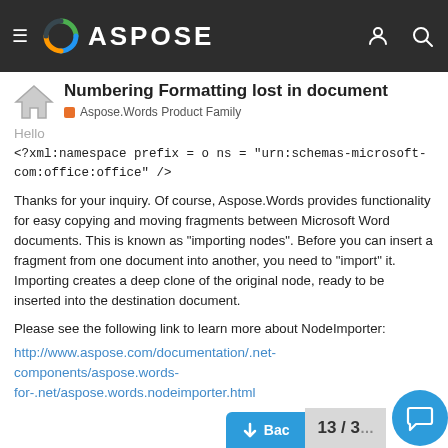ASPOSE
Numbering Formatting lost in document
Aspose.Words Product Family
Hello
<?xml:namespace prefix = o ns = "urn:schemas-microsoft-com:office:office" />
Thanks for your inquiry. Of course, Aspose.Words provides functionality for easy copying and moving fragments between Microsoft Word documents. This is known as "importing nodes". Before you can insert a fragment from one document into another, you need to "import" it. Importing creates a deep clone of the original node, ready to be inserted into the destination document.
Please see the following link to learn more about NodeImporter:
http://www.aspose.com/documentation/.net-components/aspose.words-for-.net/aspose.words.nodeimporter.html